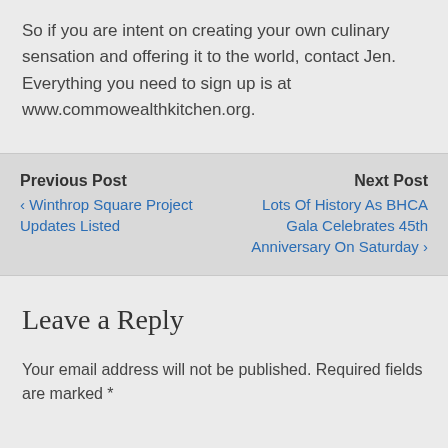So if you are intent on creating your own culinary sensation and offering it to the world, contact Jen. Everything you need to sign up is at www.commowealthkitchen.org.
Previous Post
‹ Winthrop Square Project Updates Listed
Next Post
Lots Of History As BHCA Gala Celebrates 45th Anniversary On Saturday ›
Leave a Reply
Your email address will not be published. Required fields are marked *